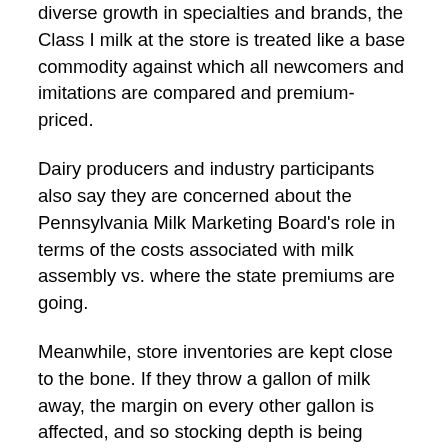diverse growth in specialties and brands, the Class I milk at the store is treated like a base commodity against which all newcomers and imitations are compared and premium-priced.
Dairy producers and industry participants also say they are concerned about the Pennsylvania Milk Marketing Board's role in terms of the costs associated with milk assembly vs. where the state premiums are going.
Meanwhile, store inventories are kept close to the bone. If they throw a gallon of milk away, the margin on every other gallon is affected, and so stocking depth is being reduced.
These are the kinds of issues that states like Pennsylvania, Georgia, New York and Michigan, among others, are actively looking at as they study capacity and